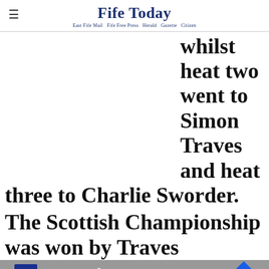Fife Today — East Fife Mail Fife Free Press Herald Gazette Citizen
Whilst heat two went to Simon Traves and heat three to Charlie Sworder.
The Scottish Championship was won by Traves who w... ee Fairhurst.
[Figure (screenshot): Books-A-Million advertisement banner]
Get 70% fewer ads. Start your 2-month trial for just £2 per month Subscribe Today